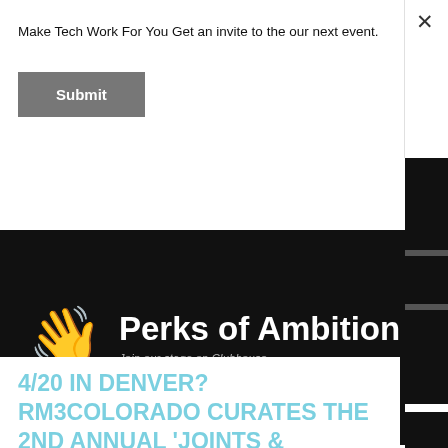×
Make Tech Work For You Get an invite to the our next event.
Submit
[Figure (illustration): Perks of Ambition logo on black background with waving hand emoji and tagline 'Join our stage on Clubhouse']
4/20 IN DENVER? RM3COLORADO CURATES THE 2nd ANNUAL 'JOINTS &